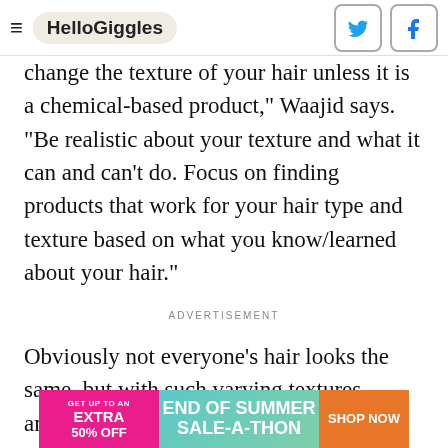HelloGiggles
change the texture of your hair unless it is a chemical-based product," Waajid says. "Be realistic about your texture and what it can and can't do. Focus on finding products that work for your hair type and texture based on what you know/learned about your hair."
ADVERTISEMENT
Obviously not everyone's hair looks the same, but with such varying textures among curly hair, product selection requires a lot of research and review. The biggest tip Waajid offers for those letti...ther
[Figure (screenshot): End of Summer Sale-A-Thon advertisement banner: pink left section 'GET UP TO AN EXTRA 50% OFF', teal middle 'END OF SUMMER SALE-A-THON', orange right 'SHOP NOW']